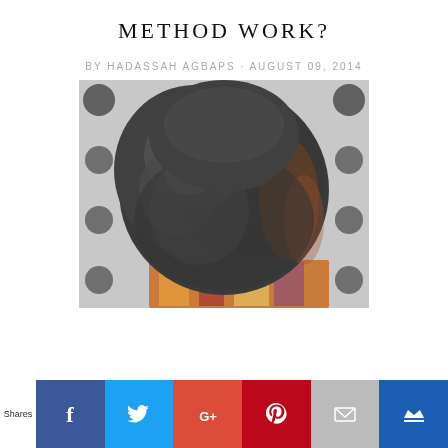METHOD WORK?
BY HADASSAH AGBAPS · AUGUST 09, 2014
[Figure (photo): Close-up photo of a person's natural curly/coily hair viewed from behind, with a patterned background visible. The hair appears large and voluminous with tight curls.]